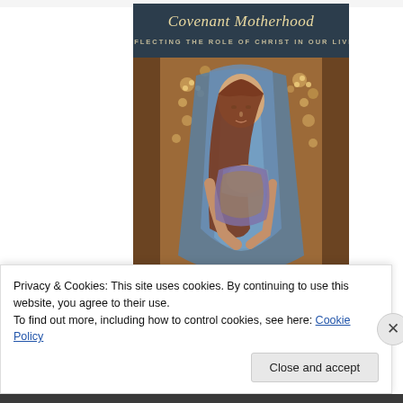[Figure (illustration): Book cover titled 'Covenant Motherhood: Reflecting the Role of Christ in Our Lives'. Features a painting of a woman in a blue veil/shawl holding a baby, set against a warm floral background.]
Privacy & Cookies: This site uses cookies. By continuing to use this website, you agree to their use.
To find out more, including how to control cookies, see here: Cookie Policy
Close and accept